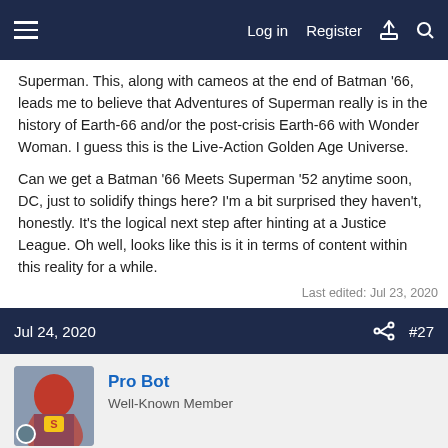Log in | Register
Superman. This, along with cameos at the end of Batman '66, leads me to believe that Adventures of Superman really is in the history of Earth-66 and/or the post-crisis Earth-66 with Wonder Woman. I guess this is the Live-Action Golden Age Universe.

Can we get a Batman '66 Meets Superman '52 anytime soon, DC, just to solidify things here? I'm a bit surprised they haven't, honestly. It's the logical next step after hinting at a Justice League. Oh well, looks like this is it in terms of content within this reality for a while.
Last edited: Jul 23, 2020
Jul 24, 2020
#27
Pro Bot
Well-Known Member
More proof supporting that Superman exists.